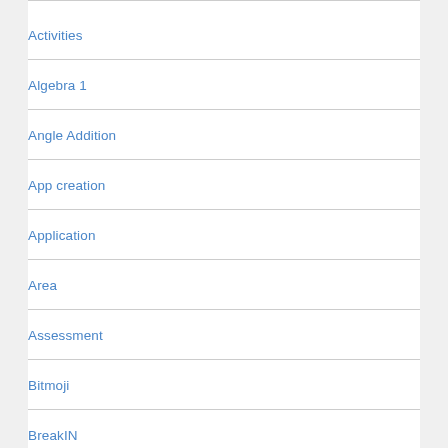Activities
Algebra 1
Angle Addition
App creation
Application
Area
Assessment
Bitmoji
BreakIN